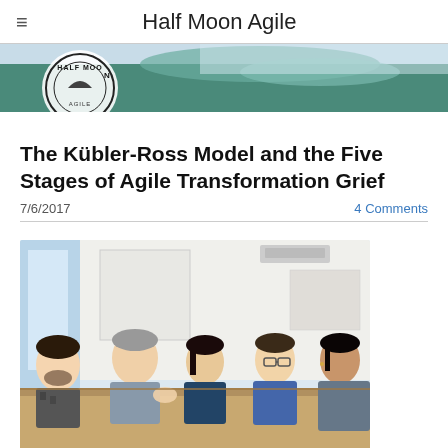Half Moon Agile
[Figure (photo): Half Moon Agile website banner with logo and wave/water background]
The Kübler-Ross Model and the Five Stages of Agile Transformation Grief
7/6/2017
4 Comments
[Figure (photo): Business meeting photo showing five professionals seated around a table in discussion, office environment with windows and whiteboard in background]